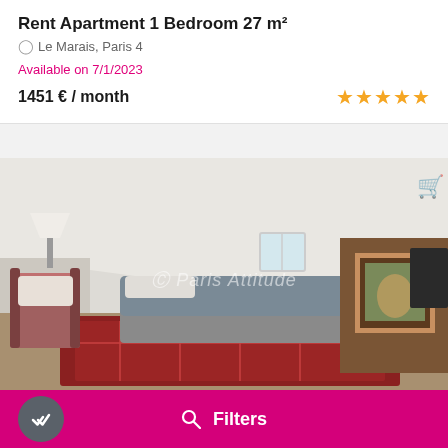Rent Apartment 1 Bedroom 27 m²
Le Marais, Paris 4
Available on 7/1/2023
1451 € / month
[Figure (illustration): Five gold star rating icons]
[Figure (photo): Interior photo of a Parisian apartment bedroom/studio showing a bed with grey cover, antique chair, a fireplace, wooden floors with oriental rug, skylighted ceiling, watermark 'Paris Attitude']
Rent Apartment Studio 27 m²
Saint-Germain-des-Prés, Paris 7
Filters